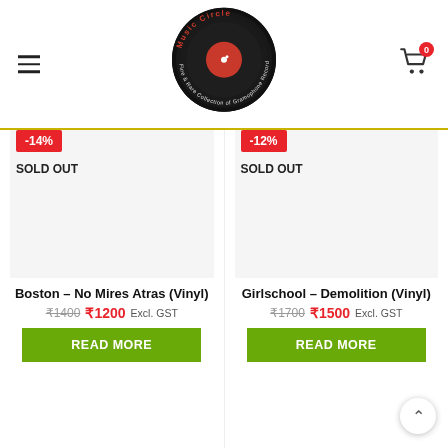[Figure (logo): Music Circle logo - vinyl record with red center and circular text reading 'Music Circle Fine & Rare Collection of Gramophone Records']
-14%
SOLD OUT
-12%
SOLD OUT
Boston – No Mires Atras (Vinyl)
₹1400 ₹1200 Excl. GST
READ MORE
Girlschool – Demolition (Vinyl)
₹1700 ₹1500 Excl. GST
READ MORE